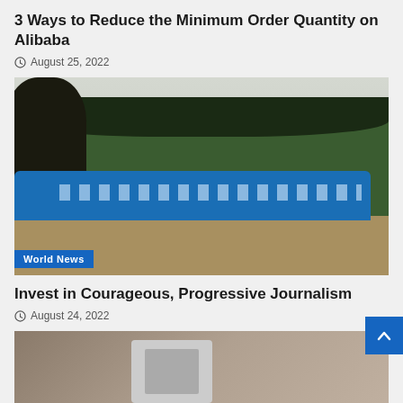3 Ways to Reduce the Minimum Order Quantity on Alibaba
August 25, 2022
[Figure (photo): Blue passenger train running through a flat landscape with trees in background. Badge overlay reads 'World News'.]
Invest in Courageous, Progressive Journalism
August 24, 2022
[Figure (photo): Partially visible image of a microscope or camera equipment with a dark figure in background.]